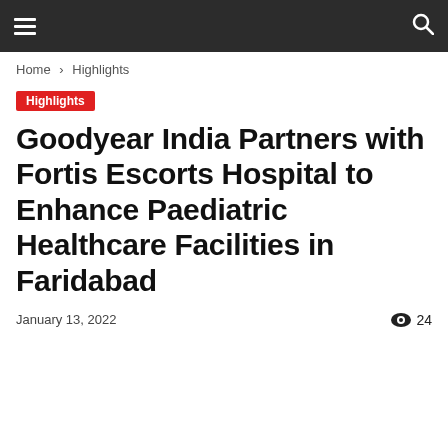≡  🔍
Home › Highlights
Highlights
Goodyear India Partners with Fortis Escorts Hospital to Enhance Paediatric Healthcare Facilities in Faridabad
January 13, 2022   👁 24